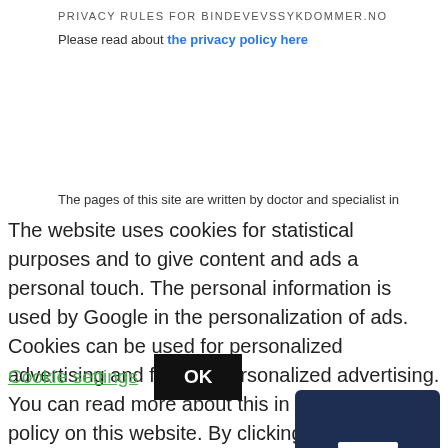PRIVACY RULES FOR BINDEVEVSSYKDOMMER.NO
Please read about the privacy policy here
The pages of this site are written by doctor and specialist in rheumatic diseases dr.med. Øyvind Palm. The information is intended for Norwegian users. The content must be reliable, but it is not guaranteed at all times that it is available, complete or correct. The owner and author of the pages therefore disclaims any responsibility for errors and omissions on
The website uses cookies for statistical purposes and to give content and ads a personal touch. The personal information is used by Google in the personalization of ads. Cookies can be used for personalized advertising and for non-personalized advertising. You can read more about this in the privacy policy on this website. By clicking on "OK" you accept our use of cookies on bindevevssykdommer.no ..
Cookie settings
OK